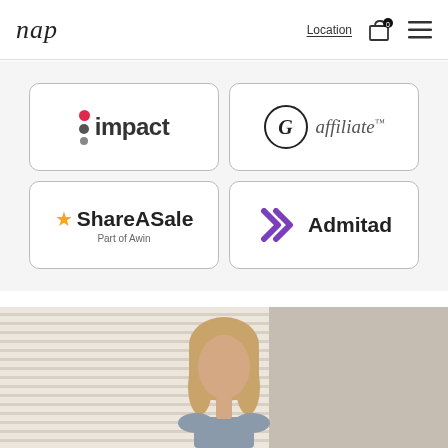nap | Location | 0 | ☰
[Figure (logo): Impact affiliate network logo: red dot and two gray dots stacked, followed by the word 'impact' in dark bold text]
[Figure (logo): CJ affiliate logo: stylized G in a circle followed by 'affiliate' in italic text with superscript trademark]
[Figure (logo): ShareASale Part of Awin logo: gold star above 'Share' text and 'ASale' with 'Part of Awin' subtitle]
[Figure (logo): Admitad logo: purple double-chevron arrow shape followed by 'Admitad' in bold dark text]
[Figure (photo): Fashion editorial photo of a blonde woman in a gray/blue outfit against a beige striped background, cropped at shoulders and above]